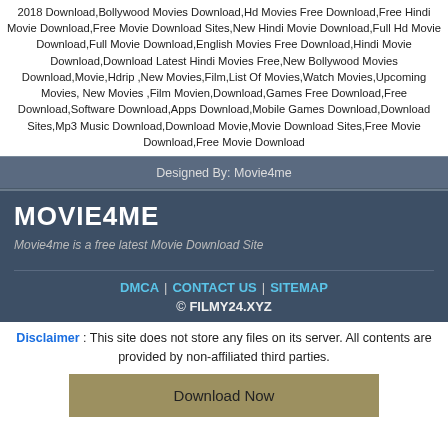2018 Download,Bollywood Movies Download,Hd Movies Free Download,Free Hindi Movie Download,Free Movie Download Sites,New Hindi Movie Download,Full Hd Movie Download,Full Movie Download,English Movies Free Download,Hindi Movie Download,Download Latest Hindi Movies Free,New Bollywood Movies Download,Movie,Hdrip ,New Movies,Film,List Of Movies,Watch Movies,Upcoming Movies, New Movies ,Film Movien,Download,Games Free Download,Free Download,Software Download,Apps Download,Mobile Games Download,Download Sites,Mp3 Music Download,Download Movie,Movie Download Sites,Free Movie Download,Free Movie Download
Designed By: Movie4me
MOVIE4ME
Movie4me is a free latest Movie Download Site
DMCA | CONTACT US | SITEMAP
© FILMY24.XYZ
Disclaimer : This site does not store any files on its server. All contents are provided by non-affiliated third parties.
Download Now